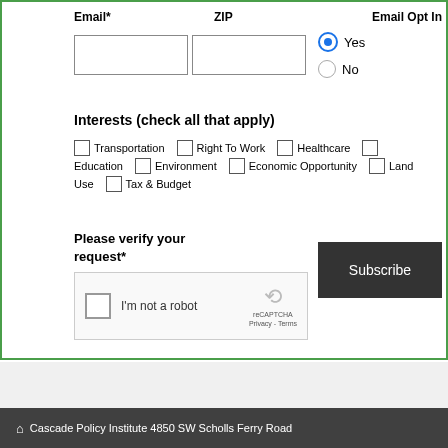Email*
ZIP
Email Opt In
Yes
No
Interests (check all that apply)
Transportation
Right To Work
Healthcare
Education
Environment
Economic Opportunity
Land Use
Tax & Budget
Please verify your request*
I'm not a robot
reCAPTCHA
Privacy - Terms
Subscribe
Cascade Policy Institute  4850 SW Scholls Ferry Road